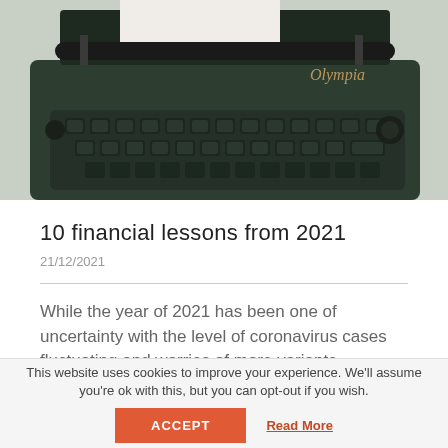[Figure (photo): Close-up photograph of a vintage Olympia typewriter with dark green/black keys and body, paper loaded in the carriage]
10 financial lessons from 2021
21/12/2021
While the year of 2021 has been one of uncertainty with the level of coronavirus cases fluctuating and worries of more variants triggering further lockdowns,
Read More >
This website uses cookies to improve your experience. We'll assume you're ok with this, but you can opt-out if you wish.
ACCEPT
Read More